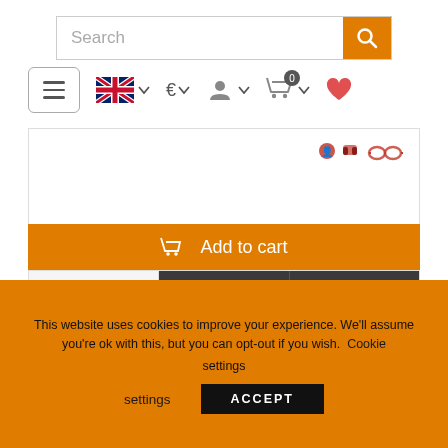[Figure (screenshot): Website search bar with orange search button and magnifying glass icon]
[Figure (screenshot): Navigation bar with hamburger menu, UK flag dropdown, Euro currency dropdown, user account icon, cart with 0 badge, and heart/wishlist icon]
[Figure (screenshot): Product action area with share/social icons, orange Add to cart button with cart icon, and Compare/zoom/heart action buttons]
[Figure (screenshot): Product card showing Adam Hall Connectors 7896 1/4 inch Locking TRS Cable Jack with connector image]
This website uses cookies to improve your experience. We'll assume you're ok with this, but you can opt-out if you wish. Cookie settings ACCEPT